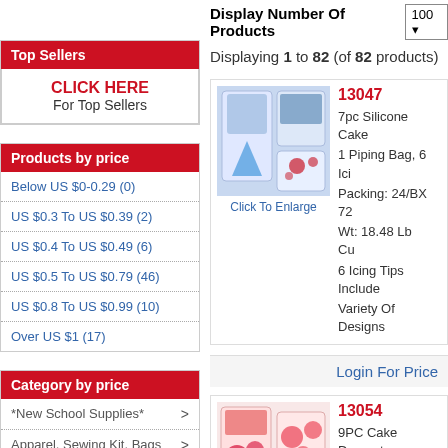Top Sellers
CLICK HERE
For Top Sellers
Products by price
Below US $0-0.29 (0)
US $0.3 To US $0.39 (2)
US $0.4 To US $0.49 (6)
US $0.5 To US $0.79 (46)
US $0.8 To US $0.99 (10)
Over US $1 (17)
Category by price
*New School Supplies* >
Apparel, Sewing Kit, Bags >
Auto & Bicycle >
Display Number Of Products 100
Displaying 1 to 82 (of 82 products)
13047
[Figure (photo): 7pc silicone cake decorating set product image]
Click To Enlarge
7pc Silicone Cake
1 Piping Bag, 6 Ici
Packing: 24/BX 72
Wt: 18.48 Lb    Cu
6 Icing Tips Include
Variety Of Designs
Login For Price
13054
[Figure (photo): 9PC Cake Decorating product image]
9PC Cake Decorat
Size: 1.25" Dia Sta
Packing: 24/BX 09